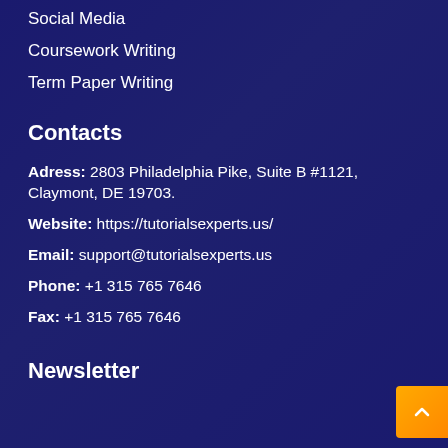Social Media
Coursework Writing
Term Paper Writing
Contacts
Adress: 2803 Philadelphia Pike, Suite B #1121, Claymont, DE 19703.
Website: https://tutorialsexperts.us/
Email: support@tutorialsexperts.us
Phone: +1 315 765 7646
Fax: +1 315 765 7646
Newsletter